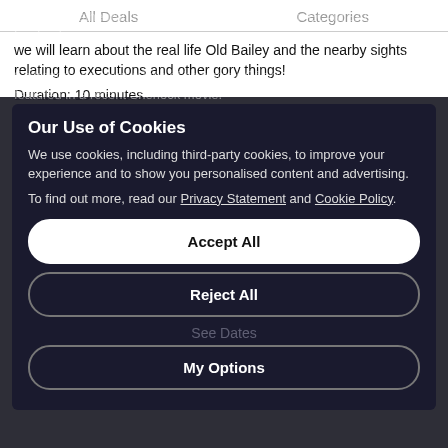All Deals   Categories
we will learn about the real life Old Bailey and the nearby sights relating to executions and other gory things!
Duration: 10 minutes
Our Use of Cookies
We use cookies, including third-party cookies, to improve your experience and to show you personalised content and advertising.
To find out more, read our Privacy Statement and Cookie Policy.
Accept All
Reject All
My Options